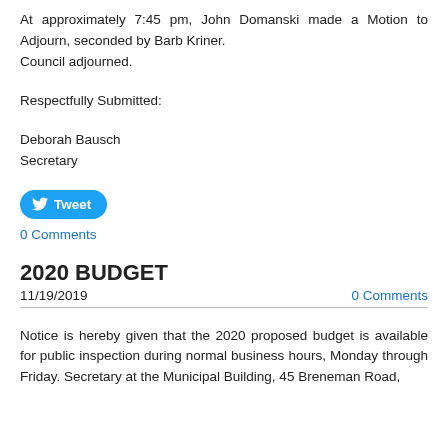At approximately 7:45 pm, John Domanski made a Motion to Adjourn, seconded by Barb Kriner. Council adjourned.
Respectfully Submitted:
Deborah Bausch
Secretary
[Figure (other): Tweet button with Twitter bird icon]
0 Comments
2020 BUDGET
11/19/2019
0 Comments
Notice is hereby given that the 2020 proposed budget is available for public inspection during normal business hours, Monday through Friday. Secretary at the Municipal Building, 45 Breneman Road,